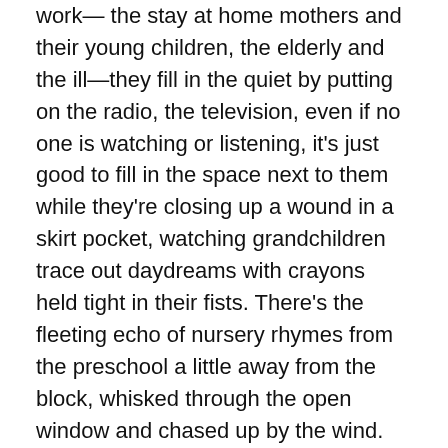work— the stay at home mothers and their young children, the elderly and the ill—they fill in the quiet by putting on the radio, the television, even if no one is watching or listening, it's just good to fill in the space next to them while they're closing up a wound in a skirt pocket, watching grandchildren trace out daydreams with crayons held tight in their fists. There's the fleeting echo of nursery rhymes from the preschool a little away from the block, whisked through the open window and chased up by the wind. Then, as evening sets in, the buses and cars which left quietly in the early hours come back, letting loose the caged up, shut up voices of children and teenagers from before.
They hear it in birdcall. The trees full of crows and mynahs squabbling for a place to roost. The Asian koel with his long, woeful lament, pouring his heart into a resonant koo-